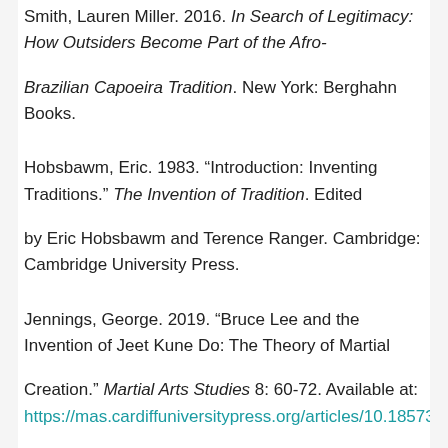Smith, Lauren Miller. 2016. In Search of Legitimacy: How Outsiders Become Part of the Afro-Brazilian Capoeira Tradition. New York: Berghahn Books.
Hobsbawm, Eric. 1983. “Introduction: Inventing Traditions.” The Invention of Tradition. Edited by Eric Hobsbawm and Terence Ranger. Cambridge: Cambridge University Press.
Jennings, George. 2019. “Bruce Lee and the Invention of Jeet Kune Do: The Theory of Martial Creation.” Martial Arts Studies 8: 60-72. Available at: https://mas.cardiffuniversitypress.org/articles/10.18573/mas.84/galley/103/download/.
Judkins, Benjamin N. 2014. “Inventing Kung